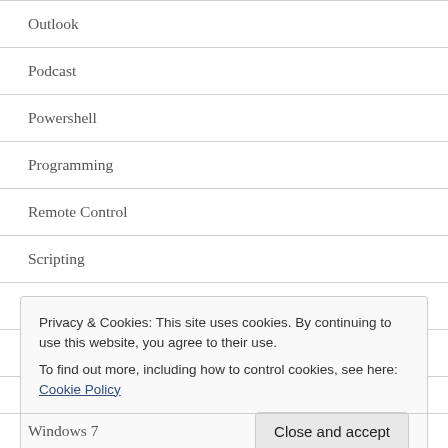Outlook
Podcast
Powershell
Programming
Remote Control
Scripting
Software Installs
Test Driven Development
Uncategorized
Privacy & Cookies: This site uses cookies. By continuing to use this website, you agree to their use.
To find out more, including how to control cookies, see here: Cookie Policy
Close and accept
Windows 7